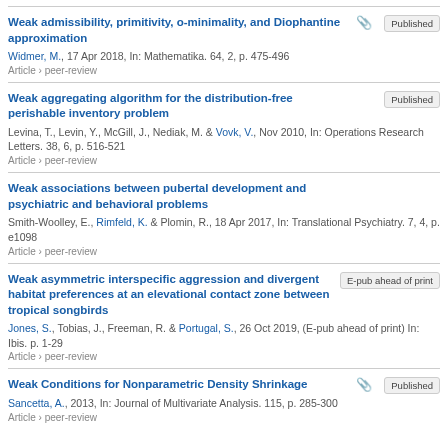Weak admissibility, primitivity, o-minimality, and Diophantine approximation
Widmer, M., 17 Apr 2018, In: Mathematika. 64, 2, p. 475-496
Article › peer-review
[Published]
Weak aggregating algorithm for the distribution-free perishable inventory problem
Levina, T., Levin, Y., McGill, J., Nediak, M. & Vovk, V., Nov 2010, In: Operations Research Letters. 38, 6, p. 516-521
Article › peer-review
[Published]
Weak associations between pubertal development and psychiatric and behavioral problems
Smith-Woolley, E., Rimfeld, K. & Plomin, R., 18 Apr 2017, In: Translational Psychiatry. 7, 4, p. e1098
Article › peer-review
Weak asymmetric interspecific aggression and divergent habitat preferences at an elevational contact zone between tropical songbirds
Jones, S., Tobias, J., Freeman, R. & Portugal, S., 26 Oct 2019, (E-pub ahead of print) In: Ibis. p. 1-29
Article › peer-review
[E-pub ahead of print]
Weak Conditions for Nonparametric Density Shrinkage
Sancetta, A., 2013, In: Journal of Multivariate Analysis. 115, p. 285-300
Article › peer-review
[Published]